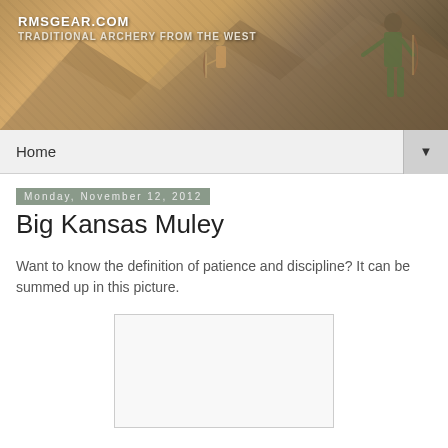[Figure (photo): Website banner header showing RMSGEAR.COM with archery hunting imagery, featuring a hunter in camouflage and mountain backgrounds with warm brown/golden tones]
Home ▼
Monday, November 12, 2012
Big Kansas Muley
Want to know the definition of patience and discipline? It can be summed up in this picture.
[Figure (photo): Placeholder image area with light gray background and border, partially visible at page bottom]